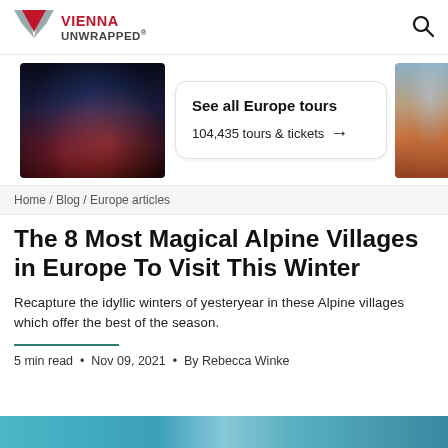VIENNA UNWRAPPED®
[Figure (screenshot): Banner with two photos and a tour card. Left photo: indoor restaurant/dining scene with city lights at night. Center card: 'See all Europe tours – 104,435 tours & tickets →'. Right photo: European city aerial view with domed building.]
Home / Blog / Europe articles
The 8 Most Magical Alpine Villages in Europe To Visit This Winter
Recapture the idyllic winters of yesteryear in these Alpine villages which offer the best of the season.
5 min read  •  Nov 09, 2021  •  By Rebecca Winke
[Figure (photo): Bottom strip showing the top edge of a blue/teal winter Alpine village photo]